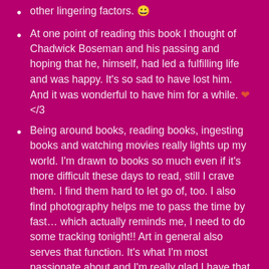other lingering factors. 😀
At one point of reading this book I thought of Chadwick Boseman and his passing and hoping that he, himself, had led a fulfilling life and was happy. It's so sad to have lost him. And it was wonderful to have him for a while. ❤ </3
Being around books, reading books, ingesting books and watching movies really lights up my world. I'm drawn to books so much even if it's more difficult these days to read, still I crave them. I find them hard to let go of, too. I also find photography helps me to pass the time by fast… which actually reminds me, I need to do some tracking tonight!! Art in general also serves that function. It's what I'm most passionate about and I'm really glad I have that as one of my main outlets. In so many